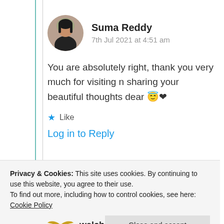[Figure (photo): Circular avatar photo of Suma Reddy, a woman with dark hair]
Suma Reddy
7th Jul 2021 at 4:51 am
You are absolutely right, thank you very much for visiting n sharing your beautiful thoughts dear 😇❤
★ Like
Log in to Reply
Privacy & Cookies: This site uses cookies. By continuing to use this website, you agree to their use.
To find out more, including how to control cookies, see here: Cookie Policy
Close and accept
welch